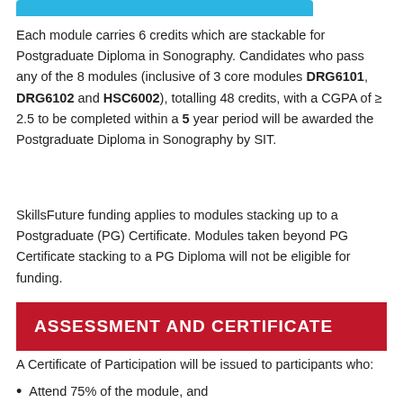[Figure (other): Cyan/blue rounded bar at top of page]
Each module carries 6 credits which are stackable for Postgraduate Diploma in Sonography. Candidates who pass any of the 8 modules (inclusive of 3 core modules DRG6101, DRG6102 and HSC6002), totalling 48 credits, with a CGPA of ≥ 2.5 to be completed within a 5 year period will be awarded the Postgraduate Diploma in Sonography by SIT.
SkillsFuture funding applies to modules stacking up to a Postgraduate (PG) Certificate. Modules taken beyond PG Certificate stacking to a PG Diploma will not be eligible for funding.
ASSESSMENT AND CERTIFICATE
A Certificate of Participation will be issued to participants who:
Attend 75% of the module, and